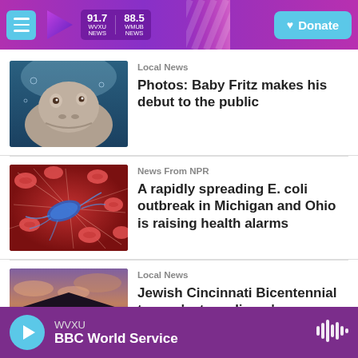WVXU 91.7 | WMUB 88.5 | Donate
[Figure (photo): Baby hippo Fritz swimming underwater, looking up at camera]
Local News
Photos: Baby Fritz makes his debut to the public
[Figure (photo): Microscopic illustration of E. coli bacteria among red blood cells on red background]
News From NPR
A rapidly spreading E. coli outbreak in Michigan and Ohio is raising health alarms
[Figure (photo): Modern building exterior at dusk with purple/pink sky]
Local News
Jewish Cincinnati Bicentennial to cap 'extraordinary' celebration during
WVXU — BBC World Service